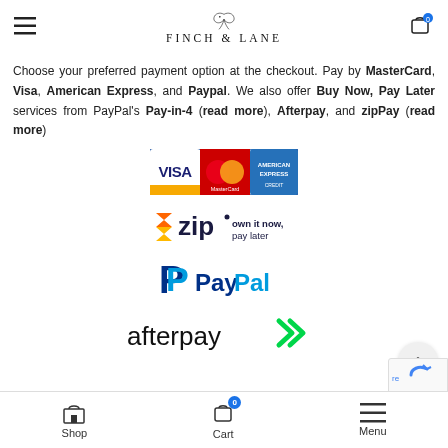FINCH & LANE
Choose your preferred payment option at the checkout. Pay by MasterCard, Visa, American Express, and Paypal. We also offer Buy Now, Pay Later services from PayPal's Pay-in-4 (read more), Afterpay, and zipPay (read more)
[Figure (logo): Visa, MasterCard, American Express card logos]
[Figure (logo): Zip - own it now, pay later logo]
[Figure (logo): PayPal logo]
[Figure (logo): Afterpay logo]
Shop  Cart  Menu